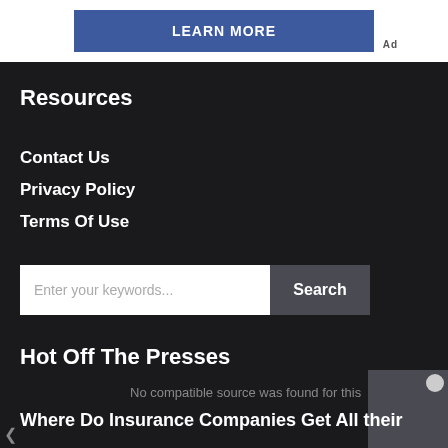[Figure (screenshot): Blue 'LEARN MORE' advertisement banner button with 'Ad' label to the right]
Resources
Contact Us
Privacy Policy
Terms Of Use
Enter your keywords...  Search
Hot Off The Presses
No compatible source was found for this
Where Do Insurance Companies Get All their